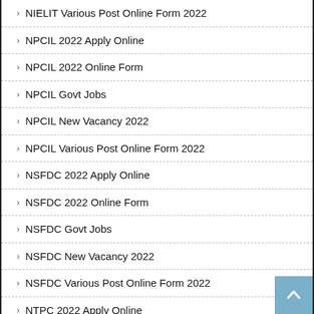NIELIT Various Post Online Form 2022
NPCIL 2022 Apply Online
NPCIL 2022 Online Form
NPCIL Govt Jobs
NPCIL New Vacancy 2022
NPCIL Various Post Online Form 2022
NSFDC 2022 Apply Online
NSFDC 2022 Online Form
NSFDC Govt Jobs
NSFDC New Vacancy 2022
NSFDC Various Post Online Form 2022
NTPC 2022 Apply Online
NTPC 2022 Online Form
NTPC Govt Jobs